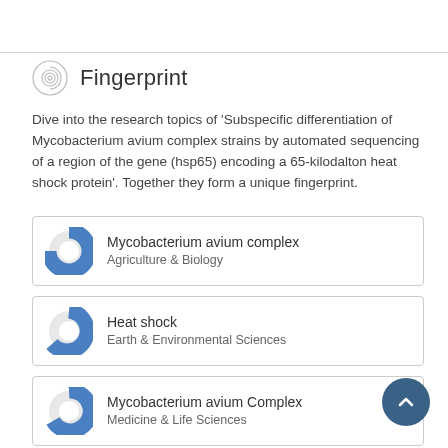Fingerprint
Dive into the research topics of 'Subspecific differentiation of Mycobacterium avium complex strains by automated sequencing of a region of the gene (hsp65) encoding a 65-kilodalton heat shock protein'. Together they form a unique fingerprint.
Mycobacterium avium complex
Agriculture & Biology
Heat shock
Earth & Environmental Sciences
Mycobacterium avium Complex
Medicine & Life Sciences